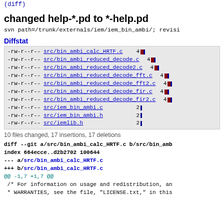(diff)
changed help-*.pd to *-help.pd
svn path=/trunk/externals/iem/iem_bin_ambi/; revisi
Diffstat
| perm | file | count | bar |
| --- | --- | --- | --- |
| -rw-r--r-- | src/bin_ambi_calc_HRTF.c | 4 |  |
| -rw-r--r-- | src/bin_ambi_reduced_decode.c | 4 |  |
| -rw-r--r-- | src/bin_ambi_reduced_decode2.c | 4 |  |
| -rw-r--r-- | src/bin_ambi_reduced_decode_fft.c | 4 |  |
| -rw-r--r-- | src/bin_ambi_reduced_decode_fft2.c | 4 |  |
| -rw-r--r-- | src/bin_ambi_reduced_decode_fir.c | 4 |  |
| -rw-r--r-- | src/bin_ambi_reduced_decode_fir2.c | 4 |  |
| -rw-r--r-- | src/iem_bin_ambi.c | 2 |  |
| -rw-r--r-- | src/iem_bin_ambi.h | 2 |  |
| -rw-r--r-- | src/iemlib.h | 2 |  |
10 files changed, 17 insertions, 17 deletions
diff --git a/src/bin_ambi_calc_HRTF.c b/src/bin_amb
index 664ecce..d2b2702 100644
--- a/src/bin_ambi_calc_HRTF.c
+++ b/src/bin_ambi_calc_HRTF.c
@@ -1,7 +1,7 @@
 /* For information on usage and redistribution, an
 * WARRANTIES, see the file, "LICENSE.txt," in this